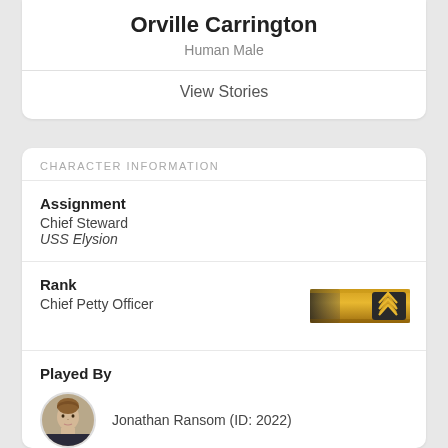Orville Carrington
Human Male
View Stories
CHARACTER INFORMATION
Assignment
Chief Steward
USS Elysion
Rank
Chief Petty Officer
[Figure (illustration): Gold/amber colored rank badge with chevron insignia for Chief Petty Officer]
Played By
[Figure (photo): Circular avatar photo of a young man with light brown hair]
Jonathan Ransom (ID: 2022)